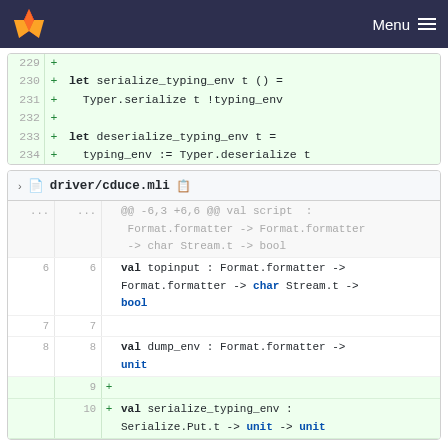GitLab navigation bar with logo and Menu
[Figure (screenshot): Code diff showing lines 229-234 with additions: let serialize_typing_env t () = Typer.serialize t !typing_env and let deserialize_typing_env t = typing_env := Typer.deserialize t]
driver/cduce.mli
[Figure (screenshot): Code diff for driver/cduce.mli showing lines 6-10: val topinput, val dump_env, and new additions val serialize_typing_env : Serialize.Put.t -> unit -> unit]